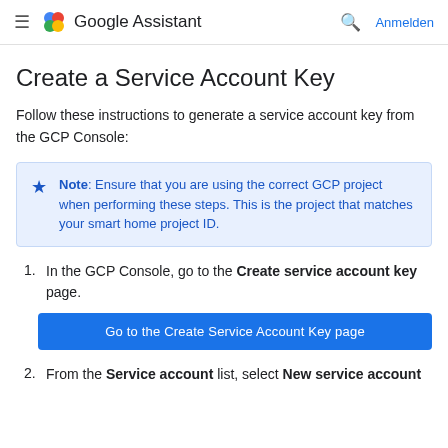Google Assistant — Anmelden
Create a Service Account Key
Follow these instructions to generate a service account key from the GCP Console:
Note: Ensure that you are using the correct GCP project when performing these steps. This is the project that matches your smart home project ID.
1. In the GCP Console, go to the Create service account key page.
Go to the Create Service Account Key page
2. From the Service account list, select New service account